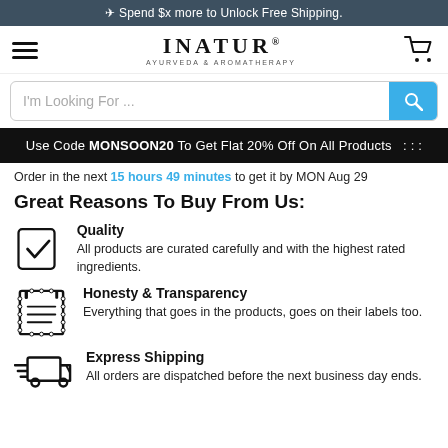✈ Spend $x more to Unlock Free Shipping.
[Figure (logo): INATUR AYURVEDA & AROMATHERAPY logo with hamburger menu and cart icon]
I'm Looking For ...
Use Code MONSOON20 To Get Flat 20% Off On All Products  : : :
Order in the next 15 hours 49 minutes to get it by MON Aug 29
Great Reasons To Buy From Us:
Quality — All products are curated carefully and with the highest rated ingredients.
Honesty & Transparency — Everything that goes in the products, goes on their labels too.
Express Shipping — All orders are dispatched before the next business day ends.